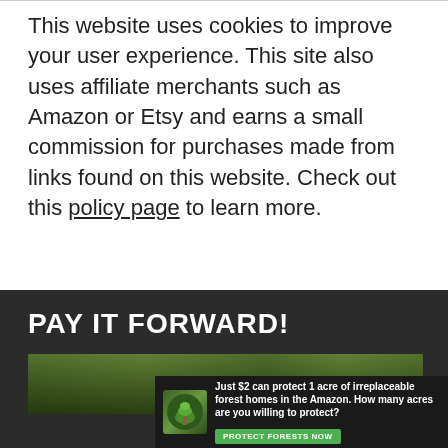This website uses cookies to improve your user experience. This site also uses affiliate merchants such as Amazon or Etsy and earns a small commission for purchases made from links found on this website. Check out this policy page to learn more.
PAY IT FORWARD!
[Figure (photo): Forest/nature photo strip showing green vegetation, used as a decorative banner image]
[Figure (infographic): Advertisement banner: Just $2 can protect 1 acre of irreplaceable forest homes in the Amazon. How many acres are you willing to protect? PROTECT FORESTS NOW button]